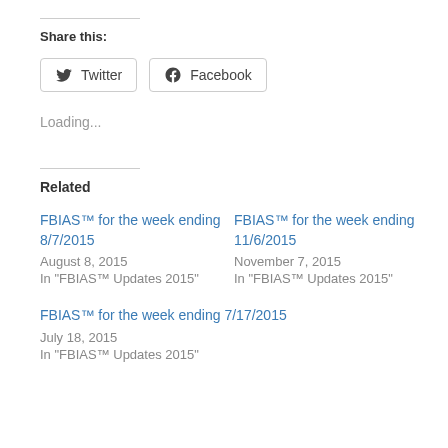Share this:
[Figure (other): Twitter and Facebook share buttons]
Loading...
Related
FBIAS™ for the week ending 8/7/2015
August 8, 2015
In "FBIAS™ Updates 2015"
FBIAS™ for the week ending 11/6/2015
November 7, 2015
In "FBIAS™ Updates 2015"
FBIAS™ for the week ending 7/17/2015
July 18, 2015
In "FBIAS™ Updates 2015"